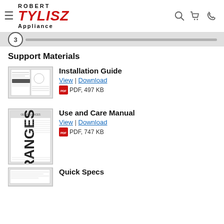[Figure (logo): Robert Tylisz Appliance logo with hamburger menu icon and navigation icons (search, cart, phone)]
[Figure (infographic): Step 3 progress bar with circle labeled 3 and a gray progress bar]
Support Materials
[Figure (photo): Thumbnail of Installation Guide document pages]
Installation Guide
View | Download
PDF, 497 KB
[Figure (photo): Thumbnail of Use and Care Manual with RANGES text visible on cover]
Use and Care Manual
View | Download
PDF, 747 KB
[Figure (photo): Thumbnail of Quick Specs document]
Quick Specs